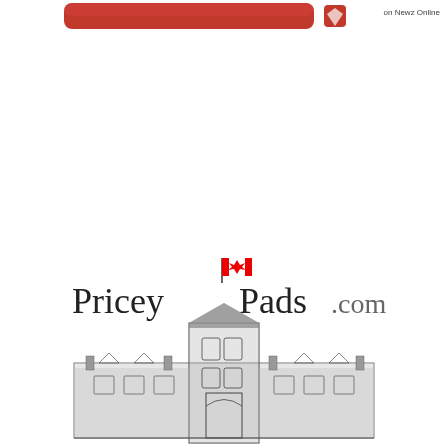[Figure (logo): Red rounded rectangle button/logo partially visible at top center, with a small red icon on the right side]
on Newz Online
[Figure (logo): PriceyPads.com logo: text 'Pricey Pads.com' in serif font with a detailed black and white illustration of a large mansion/estate building below it, featuring a Canadian flag on a central tower]